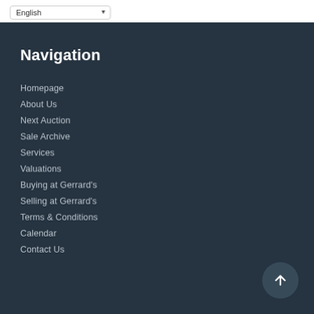English
Navigation
Homepage
About Us
Next Auction
Sale Archive
Services
Valuations
Buying at Gerrard's
Selling at Gerrard's
Terms & Conditions
Calendar
Contact Us